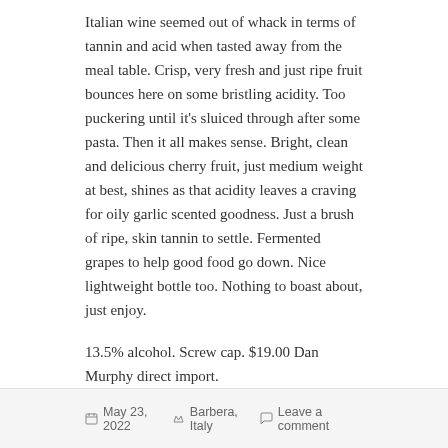Italian wine seemed out of whack in terms of tannin and acid when tasted away from the meal table. Crisp, very fresh and just ripe fruit bounces here on some bristling acidity. Too puckering until it's sluiced through after some pasta. Then it all makes sense. Bright, clean and delicious cherry fruit, just medium weight at best, shines as that acidity leaves a craving for oily garlic scented goodness. Just a brush of ripe, skin tannin to settle. Fermented grapes to help good food go down. Nice lightweight bottle too. Nothing to boast about, just enjoy.
13.5% alcohol. Screw cap. $19.00 Dan Murphy direct import.
90 points.
May 23, 2022  Barbera, Italy  Leave a comment